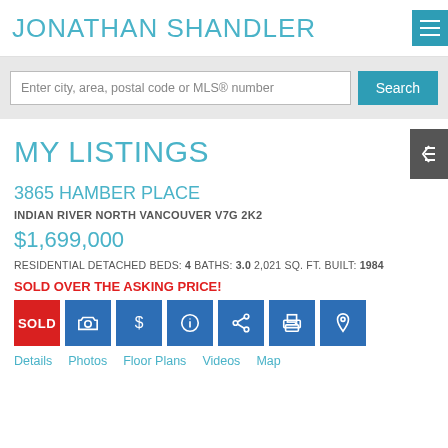JONATHAN SHANDLER
Enter city, area, postal code or MLS® number
MY LISTINGS
3865 HAMBER PLACE
INDIAN RIVER NORTH VANCOUVER V7G 2K2
$1,699,000
RESIDENTIAL DETACHED BEDS: 4 BATHS: 3.0 2,021 SQ. FT. BUILT: 1984
SOLD OVER THE ASKING PRICE!
[Figure (other): Action buttons row: SOLD (red), camera, dollar, info, share, print, map pin (blue)]
Details  Photos  Floor Plans  Videos  Map